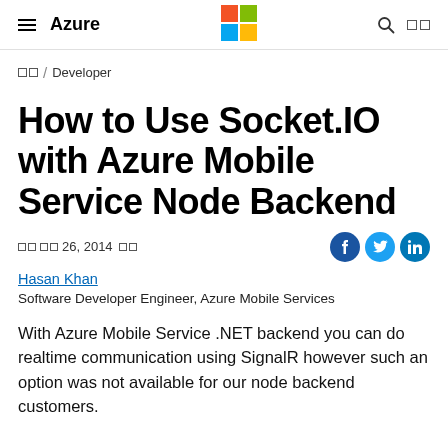≡  Azure  [Microsoft Logo]  🔍  ☐☐
☐☐ / Developer
How to Use Socket.IO with Azure Mobile Service Node Backend
☐☐ ☐☐ 26, 2014 ☐☐
Hasan Khan
Software Developer Engineer, Azure Mobile Services
With Azure Mobile Service .NET backend you can do realtime communication using SignalR however such an option was not available for our node backend customers.